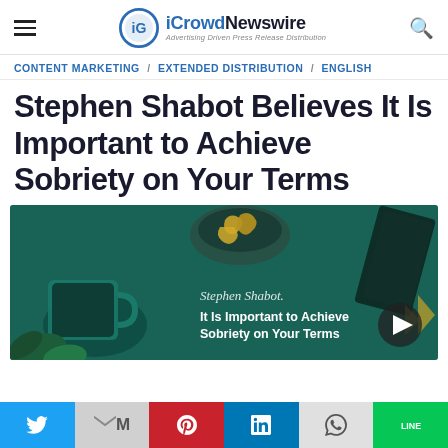iCrowdNewswire - Advertising Driven Press Release Distribution
CONTENT MARKETING / EXTENDED DISTRIBUTION / ENGLISH
Stephen Shabot Believes It Is Important to Achieve Sobriety on Your Terms
[Figure (photo): Promotional image with dark teal background showing a coffee mug, paper clips in a bowl, and green leaves. Text overlay reads 'Stephen Shabot - It Is Important to Achieve Sobriety on Your Terms' with a play button triangle icon.]
Social sharing buttons: Twitter, Gmail, Pinterest, LinkedIn, WhatsApp, LINE